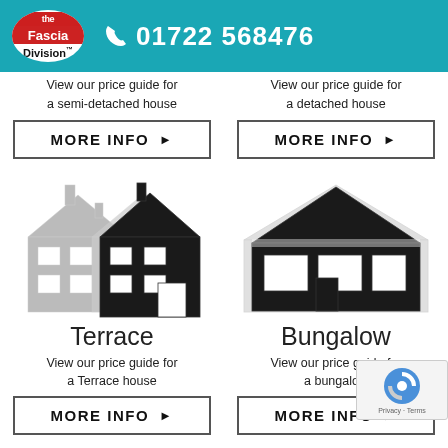The Fascia Division | 01722 568476
View our price guide for a semi-detached house
MORE INFO ▶
View our price guide for a detached house
MORE INFO ▶
[Figure (illustration): Icon illustration of a terrace house, two-tone black and grey silhouette]
Terrace
View our price guide for a Terrace house
MORE INFO ▶
[Figure (illustration): Icon illustration of a bungalow, black silhouette with grey outline]
Bungalow
View our price guide for a bungalow
MORE INFO ▶